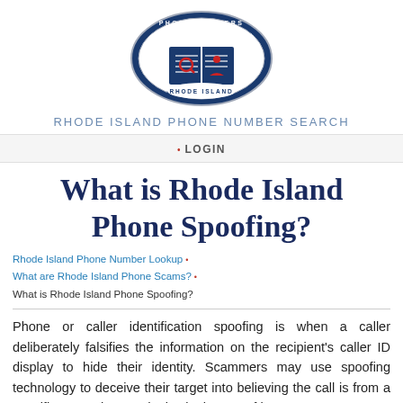[Figure (logo): Oval seal/logo with dark blue background, white stars, an open book with a magnifying glass and person icon on it, text reading PHONE NUMBERS on top arc and RHODE ISLAND on bottom arc.]
RHODE ISLAND PHONE NUMBER SEARCH
LOGIN
What is Rhode Island Phone Spoofing?
Rhode Island Phone Number Lookup
What are Rhode Island Phone Scams?
What is Rhode Island Phone Spoofing?
Phone or caller identification spoofing is when a caller deliberately falsifies the information on the recipient's caller ID display to hide their identity. Scammers may use spoofing technology to deceive their target into believing the call is from a specific area. The steady rise in the use of internet